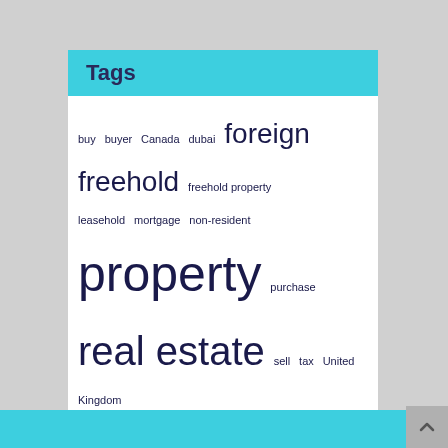Tags
buy buyer Canada dubai foreign freehold freehold property leasehold mortgage non-resident property purchase real estate sell tax United Kingdom
Meta
Log in
Entries feed
Comments feed
WordPress.org